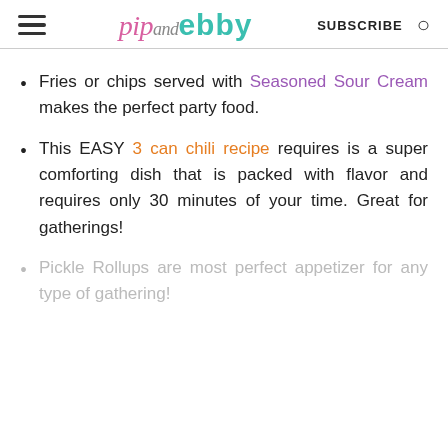pip and ebby | SUBSCRIBE
Fries or chips served with Seasoned Sour Cream makes the perfect party food.
This EASY 3 can chili recipe requires is a super comforting dish that is packed with flavor and requires only 30 minutes of your time. Great for gatherings!
Pickle Rollups are most perfect appetizer for any type of gathering!